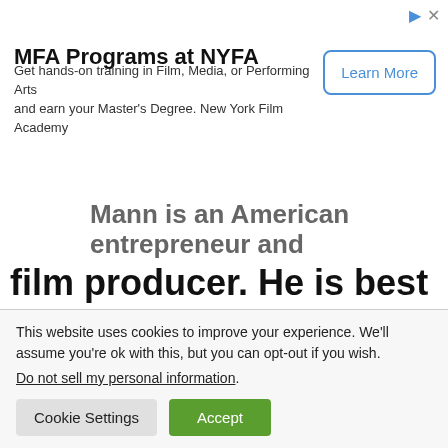[Figure (other): Advertisement banner for MFA Programs at NYFA (New York Film Academy) with a 'Learn More' button and ad icons in the top right corner.]
Mann is an American entrepreneur and film producer. He is best known for his video production company, Dhar Mann Studios, which creates short films for social media platforms such as YouTube. The films target a young audience and typically feature a turn
This website uses cookies to improve your experience. We'll assume you're ok with this, but you can opt-out if you wish.
Do not sell my personal information.
Cookie Settings   Accept